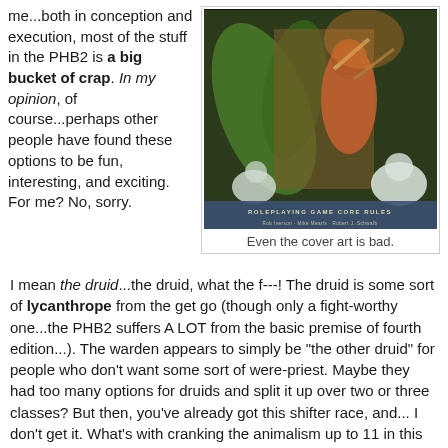me...both in conception and execution, most of the stuff in the PHB2 is a big bucket of crap. In my opinion, of course...perhaps other people have found these options to be fun, interesting, and exciting. For me? No, sorry.
[Figure (photo): Cover art of a tabletop roleplaying game book (PHB2) showing a fantasy warrior figure with animal-like features fighting a creature, with text 'ROLEPLAYING GAME CORE RULES' at the bottom.]
Even the cover art is bad.
I mean the druid...the druid, what the f---! The druid is some sort of lycanthrope from the get go (though only a fight-worthy one...the PHB2 suffers A LOT from the basic premise of fourth edition...). The warden appears to simply be "the other druid" for people who don't want some sort of were-priest. Maybe they had too many options for druids and split it up over two or three classes? But then, you've already got this shifter race, and... I don't get it. What's with cranking the animalism up to 11 in this book?